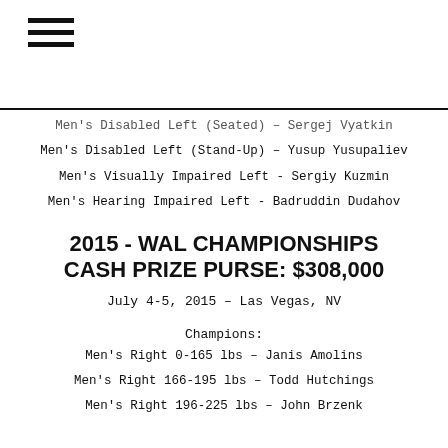Men's Disabled Left (Seated) – Sergej Vyatkin
Men's Disabled Left (Stand-Up) – Yusup Yusupaliev
Men's Visually Impaired Left - Sergiy Kuzmin
Men's Hearing Impaired Left - Badruddin Dudahov
2015 - WAL CHAMPIONSHIPS CASH PRIZE PURSE: $308,000
July 4-5, 2015 – Las Vegas, NV
Champions:
Men's Right 0-165 lbs – Janis Amolins
Men's Right 166-195 lbs – Todd Hutchings
Men's Right 196-225 lbs – John Brzenk